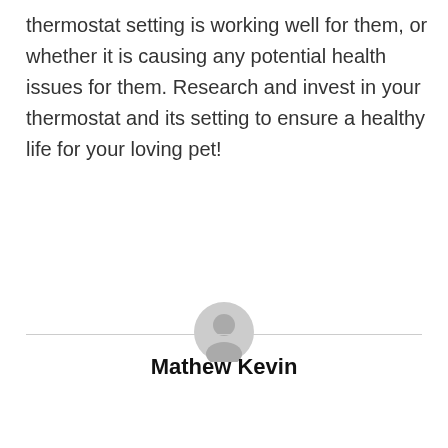thermostat setting is working well for them, or whether it is causing any potential health issues for them. Research and invest in your thermostat and its setting to ensure a healthy life for your loving pet!
[Figure (illustration): Generic user avatar icon — a grey circle with a silhouette of a person's head and shoulders]
Mathew Kevin